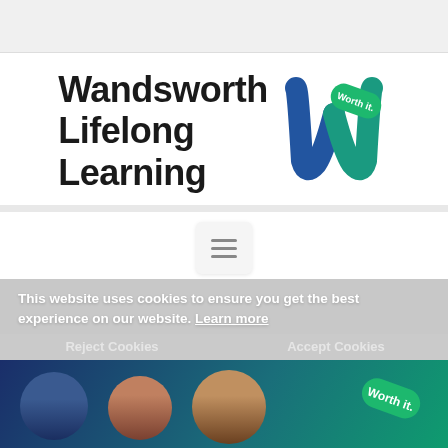[Figure (screenshot): Top grey navigation bar placeholder]
[Figure (logo): Wandsworth Lifelong Learning logo with stylized W and 'Worth it.' badge in teal and blue]
[Figure (screenshot): Hamburger menu button (three horizontal lines) in a white rounded rectangle]
This website uses cookies to ensure you get the best experience on our website. Learn more
Reject Cookies    Accept Cookies
[Figure (photo): Three circular portrait photos of people against a teal/blue gradient background, with a 'Worth it.' badge on the right]